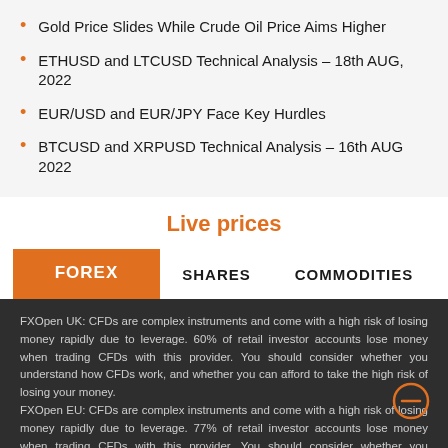Gold Price Slides While Crude Oil Price Aims Higher
ETHUSD and LTCUSD Technical Analysis – 18th AUG, 2022
EUR/USD and EUR/JPY Face Key Hurdles
BTCUSD and XRPUSD Technical Analysis – 16th AUG 2022
Live prices
FOREX    SHARES    COMMODITIES
FXOpen UK: CFDs are complex instruments and come with a high risk of losing money rapidly due to leverage. 60% of retail investor accounts lose money when trading CFDs with this provider. You should consider whether you understand how CFDs work, and whether you can afford to take the high risk of losing your money. FXOpen EU: CFDs are complex instruments and come with a high risk of losing money rapidly due to leverage. 77% of retail investor accounts lose money when trading CFDs with this provider. You should consider whether you understand how CFDs work, and whether you can afford to take the high risk of losing your money.